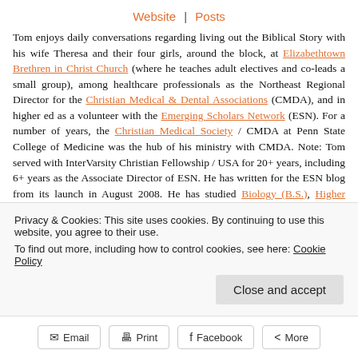Website | Posts
Tom enjoys daily conversations regarding living out the Biblical Story with his wife Theresa and their four girls, around the block, at Elizabethtown Brethren in Christ Church (where he teaches adult electives and co-leads a small group), among healthcare professionals as the Northeast Regional Director for the Christian Medical & Dental Associations (CMDA), and in higher ed as a volunteer with the Emerging Scholars Network (ESN). For a number of years, the Christian Medical Society / CMDA at Penn State College of Medicine was the hub of his ministry with CMDA. Note: Tom served with InterVarsity Christian Fellowship / USA for 20+ years, including 6+ years as the Associate Director of ESN. He has written for the ESN blog from its launch in August 2008. He has studied Biology (B.S.), Higher Education (M.A.), Spiritual Direction (Certificate), Spiritual Formation (M.A.), Ministry Formation Organization (D.Min.)
Privacy & Cookies: This site uses cookies. By continuing to use this website, you agree to their use.
To find out more, including how to control cookies, see here: Cookie Policy
Close and accept
Email | Print | Facebook | More